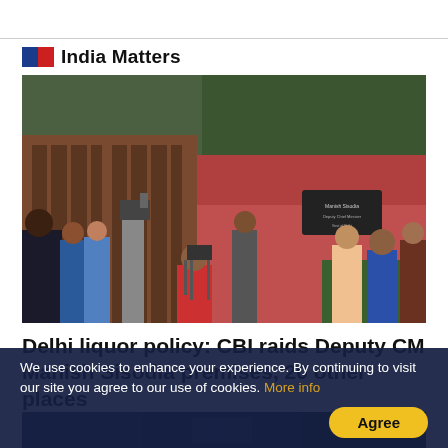India Matters
[Figure (photo): Journalists and media crew gathered outside a premises during CBI raids in Delhi]
Delhi liquor policy: CBI raids Deputy CM Manish Sisodia premises, 20 other places
[Figure (photo): Partial view of a second article image, dark blue tones]
We use cookies to enhance your experience. By continuing to visit our site you agree to our use of cookies. More info
Agree